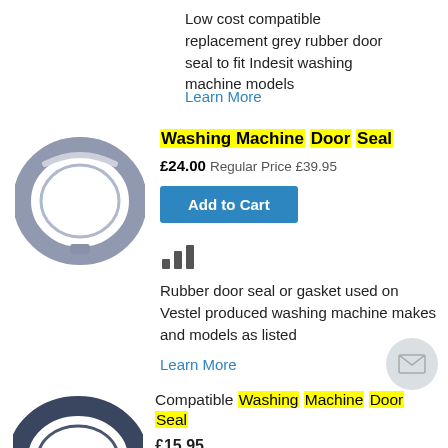Low cost compatible replacement grey rubber door seal to fit Indesit washing machine models
Learn More
Washing Machine Door Seal
£24.00 Regular Price £39.95
Add to Cart
[Figure (illustration): Bar chart icon / signal strength icon]
[Figure (photo): Grey rubber washing machine door seal ring]
Rubber door seal or gasket used on Vestel produced washing machine makes and models as listed
Learn More
Compatible Washing Machine Door Seal
£15.95
[Figure (photo): Dark blue/black rubber washing machine door seal, partially visible at bottom]